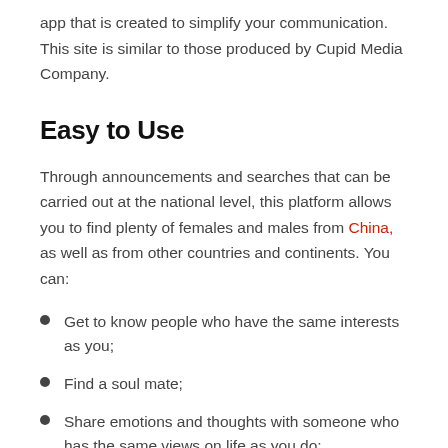app that is created to simplify your communication. This site is similar to those produced by Cupid Media Company.
Easy to Use
Through announcements and searches that can be carried out at the national level, this platform allows you to find plenty of females and males from China, as well as from other countries and continents. You can:
Get to know people who have the same interests as you;
Find a soul mate;
Share emotions and thoughts with someone who has the same views on life as you do;
Make new friends;
Start interacting with a regional chat...